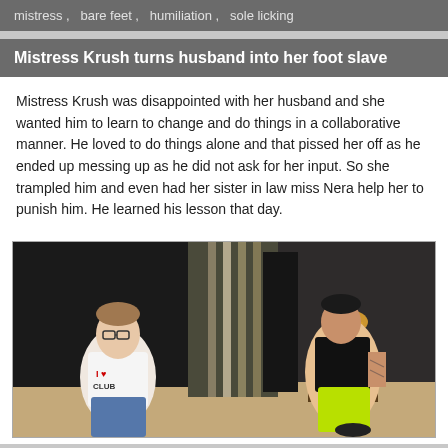mistress ,   bare feet ,   humiliation ,   sole licking
Mistress Krush turns husband into her foot slave
Mistress Krush was disappointed with her husband and she wanted him to learn to change and do things in a collaborative manner. He loved to do things alone and that pissed her off as he ended up messing up as he did not ask for her input. So she trampled him and even had her sister in law miss Nera help her to punish him. He learned his lesson that day.
[Figure (photo): Two women in a room with clothing racks and a lamp on a dresser. One woman on the left wears glasses, a white 'I Love' t-shirt and jeans. One woman on the right wears a black sleeveless top, yellow-green pants, and has tattoos on her arm.]